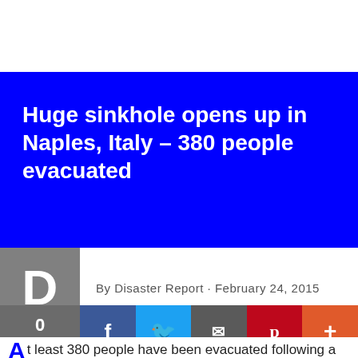Huge sinkhole opens up in Naples, Italy – 380 people evacuated
By Disaster Report · February 24, 2015
At least 380 people have been evacuated following a